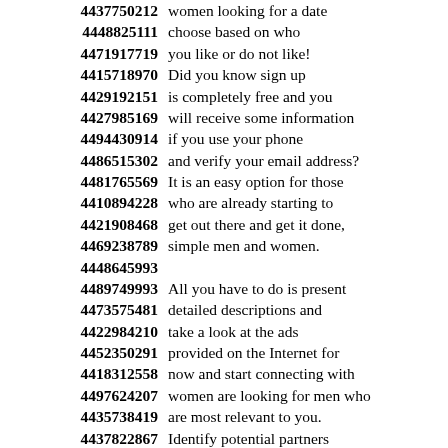4437750212 women looking for a date
4448825111 choose based on who
4471917719 you like or do not like!
4415718970 Did you know sign up
4429192151 is completely free and you
4427985169 will receive some information
4494430914 if you use your phone
4486515302 and verify your email address?
4481765569 It is an easy option for those
4410894228 who are already starting to
4421908468 get out there and get it done,
4469238789 simple men and women.
4448645993
4489749993 All you have to do is present
4473575481 detailed descriptions and
4422984210 take a look at the ads
4452350291 provided on the Internet for
4418312558 now and start connecting with
4497624207 women are looking for men who
4435738419 are most relevant to you.
4437822867 Identify potential partners
4419240696 system based on the experiences
4451884314 depending on the results of
4494329285 preferences and needs
4452787383 that everyone has provided.
4486674593 This web site is a useful